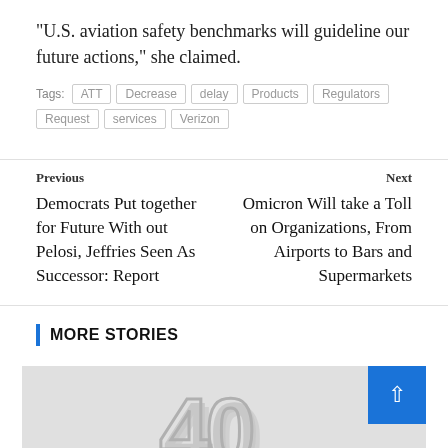“U.S. aviation safety benchmarks will guideline our future actions,” she claimed.
Tags: ATT  Decrease  delay  Products  Regulators  Request  services  Verizon
Previous
Democrats Put together for Future With out Pelosi, Jeffries Seen As Successor: Report
Next
Omicron Will take a Toll on Organizations, From Airports to Bars and Supermarkets
MORE STORIES
[Figure (illustration): Gray background image with large embossed '40' numerals and 'UNDER' text below, styled as a magazine feature graphic. A blue scroll-to-top button with an upward chevron arrow is in the top right corner.]